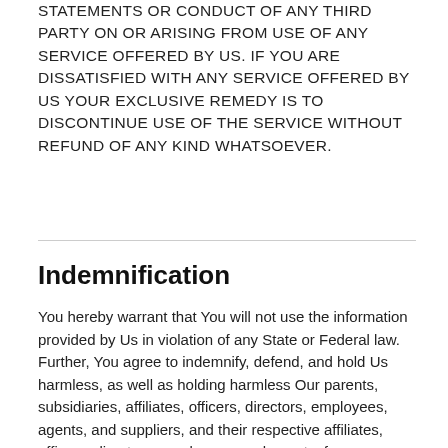STATEMENTS OR CONDUCT OF ANY THIRD PARTY ON OR ARISING FROM USE OF ANY SERVICE OFFERED BY US. IF YOU ARE DISSATISFIED WITH ANY SERVICE OFFERED BY US YOUR EXCLUSIVE REMEDY IS TO DISCONTINUE USE OF THE SERVICE WITHOUT REFUND OF ANY KIND WHATSOEVER.
Indemnification
You hereby warrant that You will not use the information provided by Us in violation of any State or Federal law. Further, You agree to indemnify, defend, and hold Us harmless, as well as holding harmless Our parents, subsidiaries, affiliates, officers, directors, employees, agents, and suppliers, and their respective affiliates, officers, directors, employees, and agents, from any claim, action, demand, or damage, including reasonable attorney's fees, made by any third party or governmental agency arising out of or related to Your use of any service offered by Us or Your violation of this Agreement, including without limitation, claims or suits for libel, violation of rights of privacy or publicity, interference with property rights, trespass, violations of Federal or State Law, patent infringement or plagiarism. We may, at Our sole discretion, assume the